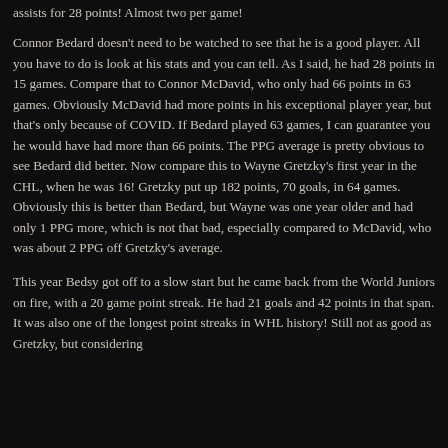assists for 28 points! Almost two per game!
Connor Bedard doesn't need to be watched to see that he is a good player. All you have to do is look at his stats and you can tell. As I said, he had 28 points in 15 games. Compare that to Connor McDavid, who only had 66 points in 63 games. Obviously McDavid had more points in his exceptional player year, but that's only because of COVID. If Bedard played 63 games, I can guarantee you he would have had more than 66 points. The PPG average is pretty obvious to see Bedard did better. Now compare this to Wayne Gretzky's first year in the CHL, when he was 16! Gretzky put up 182 points, 70 goals, in 64 games. Obviously this is better than Bedard, but Wayne was one year older and had only 1 PPG more, which is not that bad, especially compared to McDavid, who was about 2 PPG off Gretzky's average.
This year Bedsy got off to a slow start but he came back from the World Juniors on fire, with a 20 game point streak. He had 21 goals and 42 points in that span. It was also one of the longest point streaks in WHL history! Still not as good as Gretzky, but considering